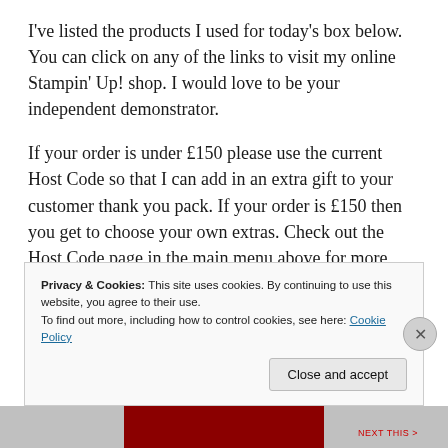I've listed the products I used for today's box below. You can click on any of the links to visit my online Stampin' Up! shop. I would love to be your independent demonstrator.
If your order is under £150 please use the current Host Code so that I can add in an extra gift to your customer thank you pack. If your order is £150 then you get to choose your own extras. Check out the Host Code page in the main menu above for more info.
Privacy & Cookies: This site uses cookies. By continuing to use this website, you agree to their use.
To find out more, including how to control cookies, see here: Cookie Policy
Close and accept